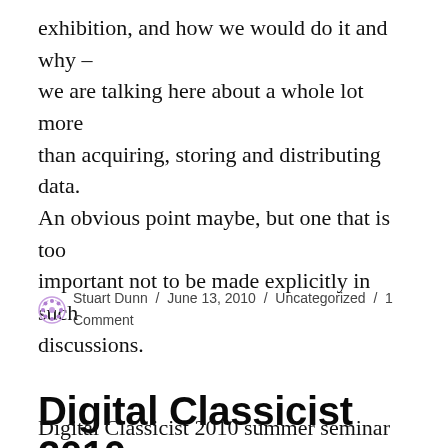exhibition, and how we would do it and why – we are talking here about a whole lot more than acquiring, storing and distributing data. An obvious point maybe, but one that is too important not to be made explicitly in such discussions.
Stuart Dunn / June 13, 2010 / Uncategorized / 1 Comment
Digital Classicist 2010 summer seminar programme
Digital Classicist 2010 summer seminar